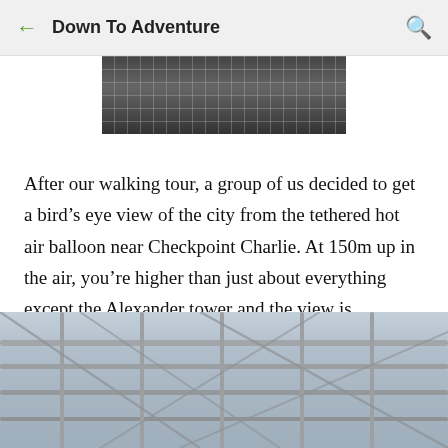Down To Adventure
[Figure (photo): Top portion of a photo showing interior structure of a hot air balloon basket or cage, viewed from below, dark tones with grid pattern]
After our walking tour, a group of us decided to get a bird’s eye view of the city from the tethered hot air balloon near Checkpoint Charlie. At 150m up in the air, you’re higher than just about everything except the Alexander tower and the view is stunning.
[Figure (photo): Photo showing the ropes and metal framework of a hot air balloon basket structure against a light sky background, close-up view]